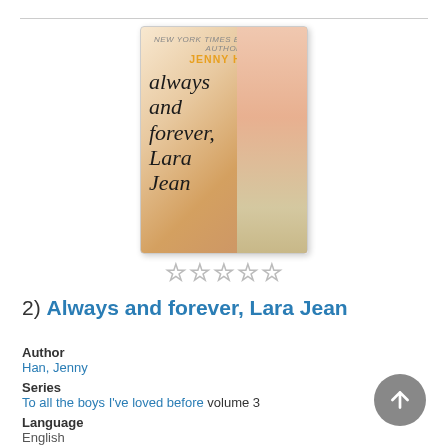[Figure (photo): Book cover for 'Always and forever, Lara Jean' by Jenny Han, showing a young woman in a floral dress standing by a table. Title is written in script font.]
★★★★★ (empty star rating)
2) Always and forever, Lara Jean
Author
Han, Jenny
Series
To all the boys I've loved before volume 3
Language
English
Formats
Book, eAudiobook, eBook, Kindle
Description